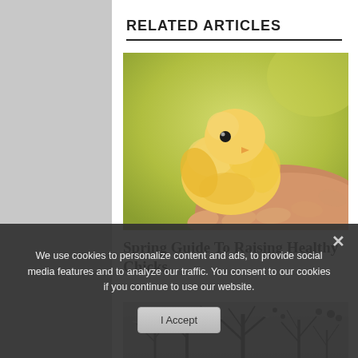RELATED ARTICLES
[Figure (photo): A small yellow baby chick sitting in a human hand, with a soft green blurred background.]
Spring Guide To Raising Healthy Chicks
[Figure (photo): Snow-covered winter tree branches in a forest, black and white tones.]
We use cookies to personalize content and ads, to provide social media features and to analyze our traffic. You consent to our cookies if you continue to use our website.